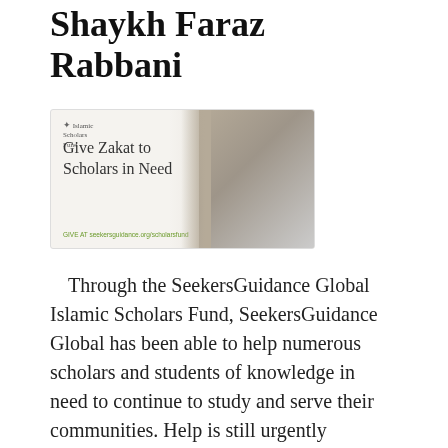Shaykh Faraz Rabbani
[Figure (illustration): Advertisement banner for Islamic Scholars Fund reading 'Give Zakat to Scholars in Need' with logo and URL, with people in background on right side]
Through the SeekersGuidance Global Islamic Scholars Fund, SeekersGuidance Global has been able to help numerous scholars and students of knowledge in need to continue to study and serve their communities. Help is still urgently needed for a number of ongoing cases to help scholars and students of knowledge in